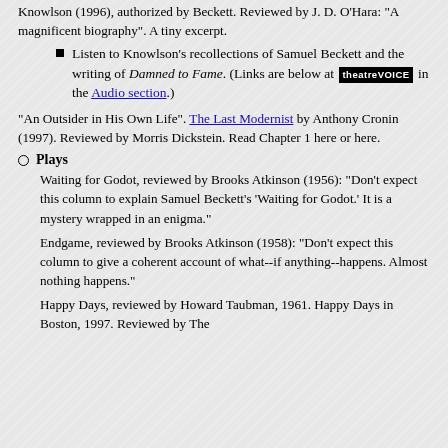Knowlson (1996), authorized by Beckett. Reviewed by J. D. O'Hara: "A magnificent biography". A tiny excerpt.
Listen to Knowlson's recollections of Samuel Beckett and the writing of Damned to Fame. (Links are below at [theatreVOICE] in the Audio section.)
"An Outsider in His Own Life". The Last Modernist by Anthony Cronin (1997). Reviewed by Morris Dickstein. Read Chapter 1 here or here.
Plays
Waiting for Godot, reviewed by Brooks Atkinson (1956): "Don't expect this column to explain Samuel Beckett's 'Waiting for Godot.' It is a mystery wrapped in an enigma."
Endgame, reviewed by Brooks Atkinson (1958): "Don't expect this column to give a coherent account of what--if anything--happens. Almost nothing happens."
Happy Days, reviewed by Howard Taubman, 1961. Happy Days in Boston, 1997. Reviewed by The